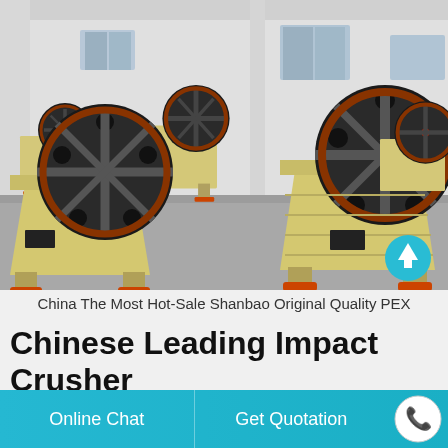[Figure (photo): Multiple yellow jaw crusher machines (PEX type) lined up in a factory yard in front of a white industrial building. The machines have large black flywheels with red centers.]
China The Most Hot-Sale Shanbao Original Quality PEX
Chinese Leading Impact Crusher